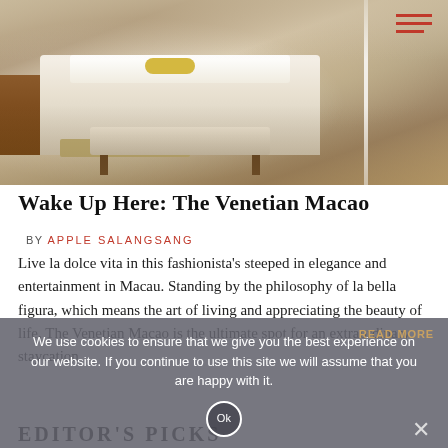[Figure (photo): Hotel room at The Venetian Macao showing a large bed with white linens, a bench at the foot of the bed, ornate carpet, nightstand, and large windows. A hamburger menu icon is visible in the top-right corner.]
Wake Up Here: The Venetian Macao
BY APPLE SALANGSANG
Live la dolce vita in this fashionista's steeped in elegance and entertainment in Macau. Standing by the philosophy of la bella figura, which means the art of living and appreciating the beauty of life, The Venetian Macao is the ultimate spot for an extraordinary staycation
We use cookies to ensure that we give you the best experience on our website. If you continue to use this site we will assume that you are happy with it.
READ MORE
Ok
EDITOR'S PICKS